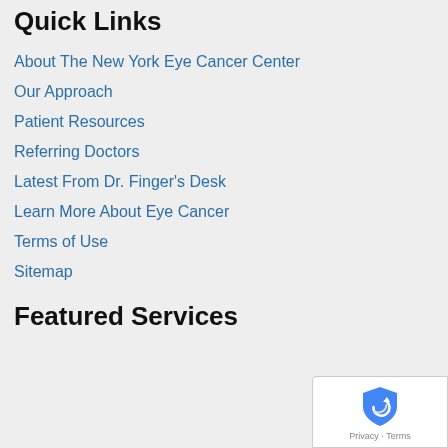Quick Links
About The New York Eye Cancer Center
Our Approach
Patient Resources
Referring Doctors
Latest From Dr. Finger's Desk
Learn More About Eye Cancer
Terms of Use
Sitemap
Featured Services
[Figure (logo): Google reCAPTCHA badge with shield icon and Privacy - Terms text]